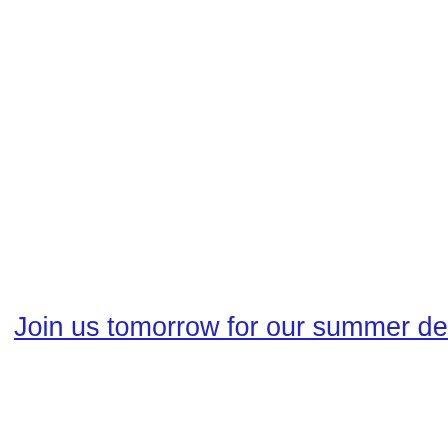Join us tomorrow for our summer decry event! Come